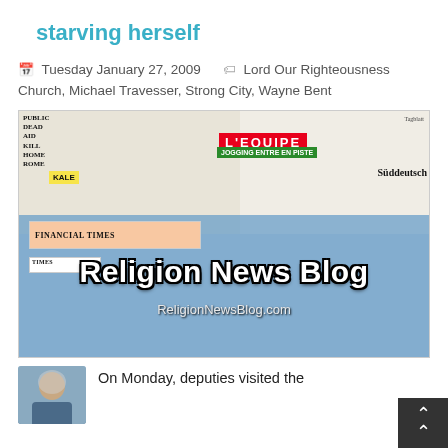starving herself
Tuesday January 27, 2009   Lord Our Righteousness Church, Michael Travesser, Strong City, Wayne Bent
[Figure (photo): Religion News Blog banner image showing a collage of newspapers in the background with the text 'Religion News Blog' and 'ReligionNewsBlog.com' overlaid on a blue tinted background. Visible newspapers include L'Equipe, Financial Times, Süddeutsche, and Times.]
On Monday, deputies visited the